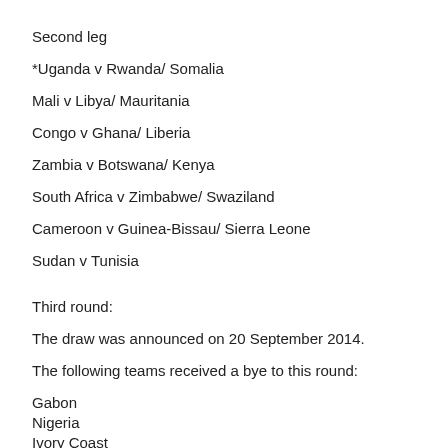Second leg
*Uganda v Rwanda/ Somalia
Mali v Libya/ Mauritania
Congo v Ghana/ Liberia
Zambia v Botswana/ Kenya
South Africa v Zimbabwe/ Swaziland
Cameroon v Guinea-Bissau/ Sierra Leone
Sudan v Tunisia
Third round:
The draw was announced on 20 September 2014.
The following teams received a bye to this round:
Gabon
Nigeria
Ivory Coast
Senegal
Algeria
Egypt
Morocco